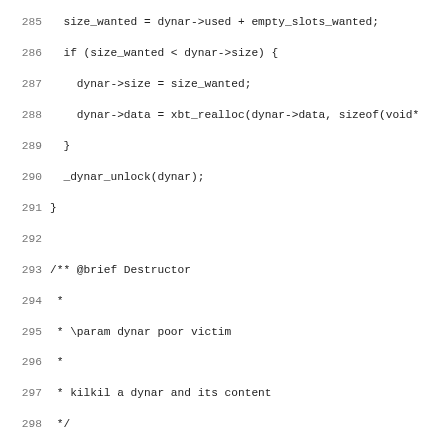Source code listing lines 285-317, C code for dynar (dynamic array) functions including xbt_dynar_free, xbt_dynar_free_voidp, and beginning of xbt_dynar_length